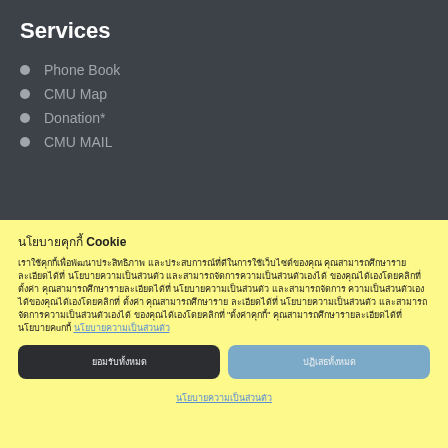Services
Phone Book
CMU Map
Donation*
CMU MAIL
นโยบายคุกกี้ Cookie
เราใช้คุกกี้เพื่อพัฒนาประสิทธิภาพ และประสบการณ์ที่ดีในการใช้เว็บไซต์ของคุณ คุณสามารถศึกษารายละเอียดได้ที่ นโยบายความเป็นส่วนตัว และสามารถจัดการความเป็นส่วนตัวเองได้ของคุณได้เองโดยคลิกที่ ตั้งค่า
นโยบายความเป็นส่วนตัว